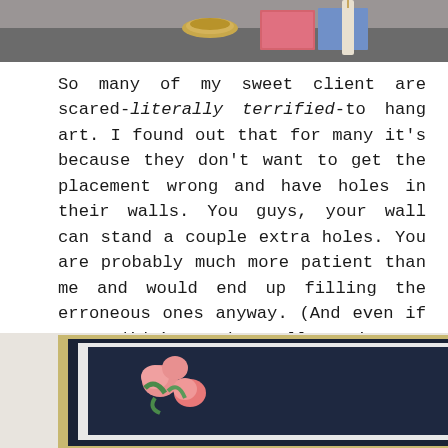[Figure (photo): Top portion of a photo showing a tabletop with decorative items including a gold bowl, books, and a candle on a dark surface]
So many of my sweet client are scared-literally terrified-to hang art. I found out that for many it's because they don't want to get the placement wrong and have holes in their walls. You guys, your wall can stand a couple extra holes. You are probably much more patient than me and would end up filling the erroneous ones anyway. (And even if you didn't, oh well. Live a little.)

Ok, now that we hashed that out...moving on.
[Figure (photo): Bottom portion showing two images side by side: a framed floral artwork with pink flowers on dark background with gold frame, and a wooden floor or surface with a polka dot pattern visible]